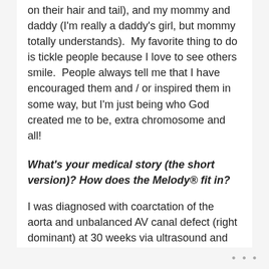on their hair and tail), and my mommy and daddy (I'm really a daddy's girl, but mommy totally understands).  My favorite thing to do is tickle people because I love to see others smile.  People always tell me that I have encouraged them and / or inspired them in some way, but I'm just being who God created me to be, extra chromosome and all!
What's your medical story (the short version)? How does the Melody® fit in?
I was diagnosed with coarctation of the aorta and unbalanced AV canal defect (right dominant) at 30 weeks via ultrasound and my parents learned that I would be
...